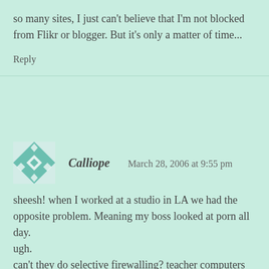so many sites, I just can't believe that I'm not blocked from Flikr or blogger. But it's only a matter of time...
Reply
Calliope   March 28, 2006 at 9:55 pm
sheesh! when I worked at a studio in LA we had the opposite problem. Meaning my boss looked at porn all day.
ugh.
can't they do selective firewalling? teacher computers would have different filters?
Reply